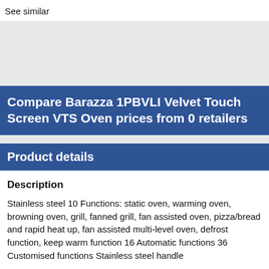See similar
[Figure (other): Grey placeholder image area]
Compare Barazza 1PBVLI Velvet Touch Screen VTS Oven prices from 0 retailers
Product details
Description
Stainless steel 10 Functions: static oven, warming oven, browning oven, grill, fanned grill, fan assisted oven, pizza/bread and rapid heat up, fan assisted multi-level oven, defrost function, keep warm function 16 Automatic functions 36 Customised functions Stainless steel handle